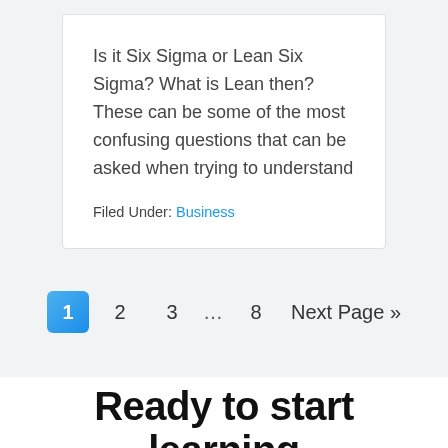Is it Six Sigma or Lean Six Sigma? What is Lean then? These can be some of the most confusing questions that can be asked when trying to understand
Filed Under: Business
1 2 3 … 8 Next Page »
Ready to start learning